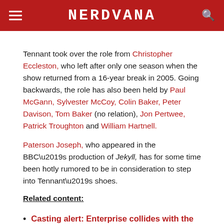NERDVANA
Tennant took over the role from Christopher Eccleston, who left after only one season when the show returned from a 16-year break in 2005. Going backwards, the role has also been held by Paul McGann, Sylvester McCoy, Colin Baker, Peter Davison, Tom Baker (no relation), Jon Pertwee, Patrick Troughton and William Hartnell.
Paterson Joseph, who appeared in the BBC’s production of Jekyll, has for some time been hotly rumored to be in consideration to step into Tennant’s shoes.
Related content:
Casting alert: Enterprise collides with the TARDIS